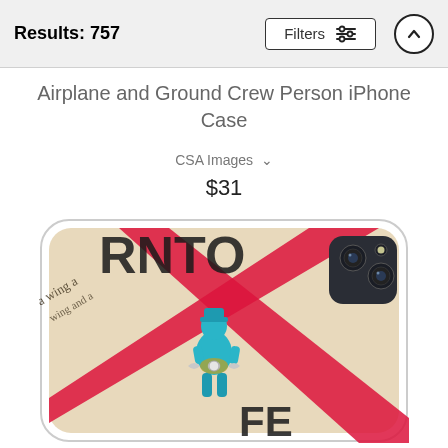Results: 757
Airplane and Ground Crew Person iPhone Case
CSA Images
$31
[Figure (photo): Product photo of an iPhone case featuring a blue figurine of a ground crew person holding wings badge, overlaid on a newspaper/text collage with red diagonal stripes forming an X pattern. The case shows a modern iPhone camera bump in top-right corner.]